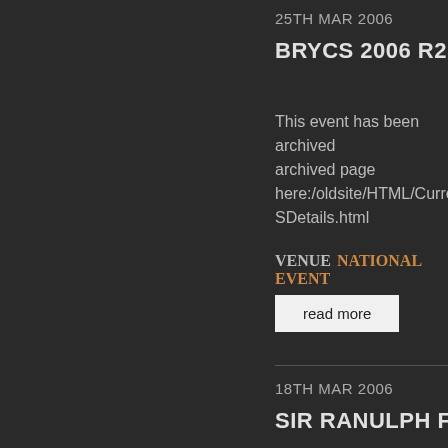25TH MAR 2006
BRYCS 2006 R2 SCO...
This event has been archived archived page here:/oldsite/HTML/CurrentESDetails.html
VENUE  NATIONAL EVENT...
read more
18TH MAR 2006
SIR RANULPH FIENN...
This event has been archived archived page here:/oldsite/HTML/CurrentEulphFiennesBuxton.html